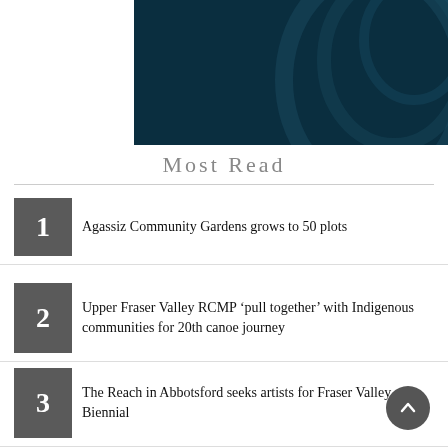[Figure (photo): Dark teal/navy background image, partially visible on right side of page]
Most Read
1 Agassiz Community Gardens grows to 50 plots
2 Upper Fraser Valley RCMP ‘pull together’ with Indigenous communities for 20th canoe journey
3 The Reach in Abbotsford seeks artists for Fraser Valley Biennial
4 Vancouver police investigate three violent stranger attacks in Fairview neighbourhood